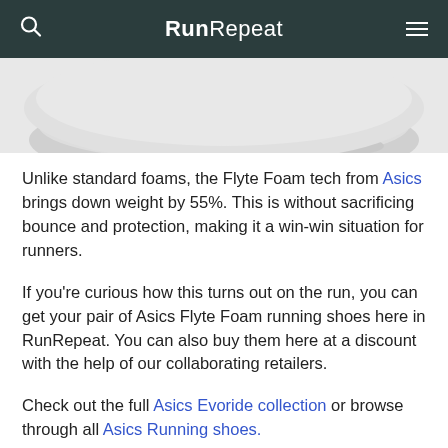RunRepeat
[Figure (photo): Partial bottom view of a white running shoe sole against a light gray background]
Unlike standard foams, the Flyte Foam tech from Asics brings down weight by 55%. This is without sacrificing bounce and protection, making it a win-win situation for runners.
If you're curious how this turns out on the run, you can get your pair of Asics Flyte Foam running shoes here in RunRepeat. You can also buy them here at a discount with the help of our collaborating retailers.
Check out the full Asics Evoride collection or browse through all Asics Running shoes.